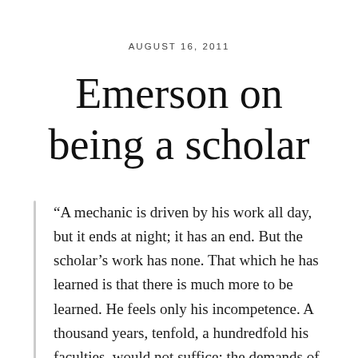AUGUST 16, 2011
Emerson on being a scholar
“A mechanic is driven by his work all day, but it ends at night; it has an end. But the scholar’s work has none. That which he has learned is that there is much more to be learned. He feels only his incompetence. A thousand years, tenfold, a hundredfold his faculties, would not suffice: the demands of the task are such, that it becomes